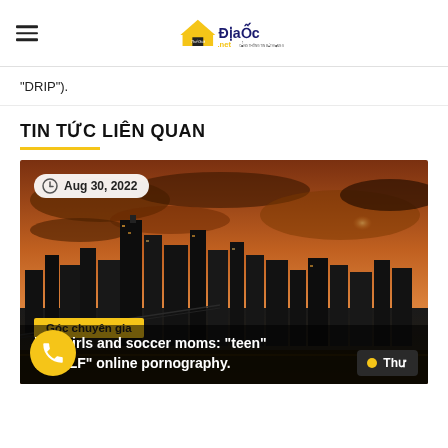Thế Giới Địa Ốc .net
“DRIP”).
TIN TỨC LIÊN QUAN
[Figure (photo): City skyline at dusk with dramatic orange-red cloudy sky, tall skyscrapers visible with a bridge in foreground. Date badge: Aug 30, 2022. Category tag: Góc chuyên gia. Article title: hoolgirls and soccer moms: “teen” d “MILF” online pornography.]